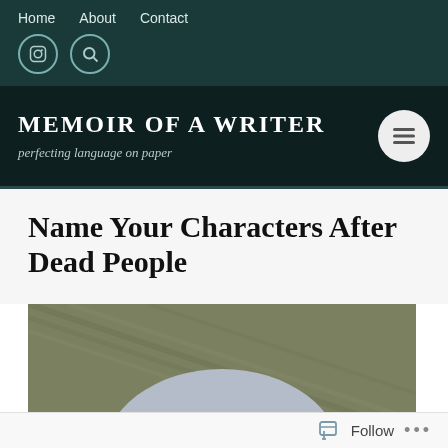Home   About   Contact
MEMOIR OF A WRITER
perfecting language on paper
Name Your Characters After Dead People
[Figure (photo): A gravestone in grass reading RICHARD S. SORENS...]
Follow  ...